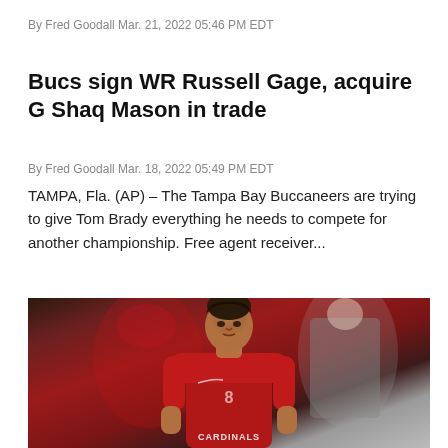By Fred Goodall Mar. 21, 2022 05:46 PM EDT
Bucs sign WR Russell Gage, acquire G Shaq Mason in trade
By Fred Goodall Mar. 18, 2022 05:49 PM EDT
TAMPA, Fla. (AP) – The Tampa Bay Buccaneers are trying to give Tom Brady everything he needs to compete for another championship. Free agent receiver...
[Figure (photo): Football player in Arizona Cardinals red jersey on the field, with blurred figures in the background including a man in a suit and someone in a red hat.]